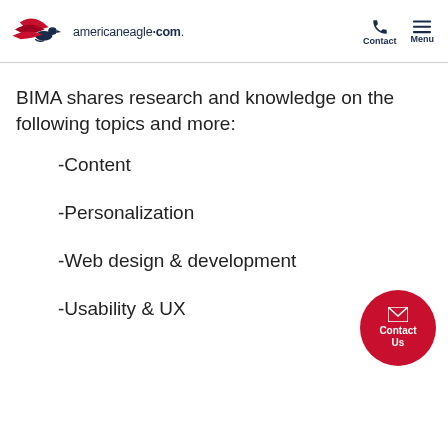americaneagle.com. Contact Menu
BIMA shares research and knowledge on the following topics and more:
-Content
-Personalization
-Web design & development
-Usability & UX